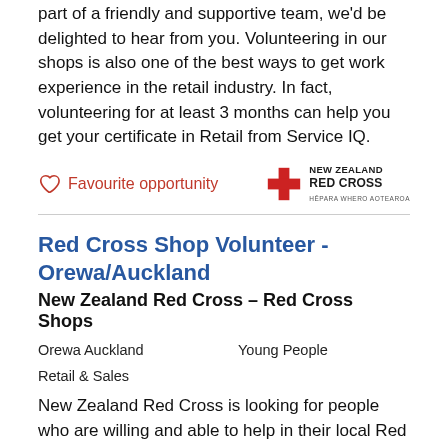part of a friendly and supportive team, we'd be delighted to hear from you. Volunteering in our shops is also one of the best ways to get work experience in the retail industry. In fact, volunteering for at least 3 months can help you get your certificate in Retail from Service IQ.
Favourite opportunity
Red Cross Shop Volunteer - Orewa/Auckland
New Zealand Red Cross – Red Cross Shops
Orewa Auckland
Young People
Retail & Sales
New Zealand Red Cross is looking for people who are willing and able to help in their local Red Cross Shop. If you love helping others, enjoy being part of a friendly and supportive team, we'd be delighted to hear from you. Volunteering in our shops is also one of the best ways to